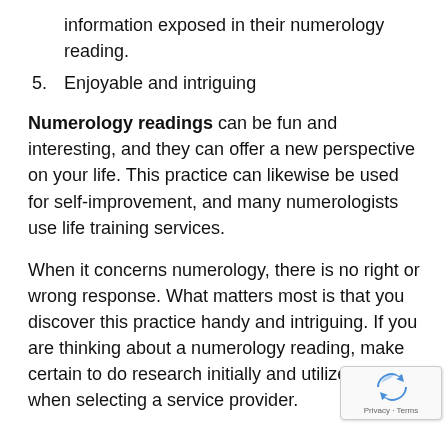information exposed in their numerology reading.
5. Enjoyable and intriguing
Numerology readings can be fun and interesting, and they can offer a new perspective on your life. This practice can likewise be used for self-improvement, and many numerologists use life training services.
When it concerns numerology, there is no right or wrong response. What matters most is that you discover this practice handy and intriguing. If you are thinking about a numerology reading, make certain to do research initially and utilize care when selecting a service provider.
[Figure (logo): reCAPTCHA badge with circular arrow logo and Privacy - Terms text]